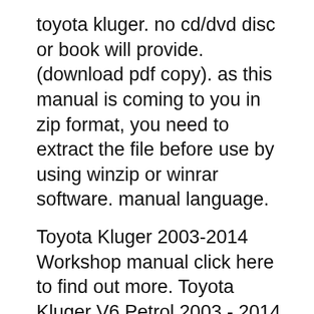toyota kluger. no cd/dvd disc or book will provide. (download pdf copy). as this manual is coming to you in zip format, you need to extract the file before use by using winzip or winrar software. manual language.
Toyota Kluger 2003-2014 Workshop manual click here to find out more. Toyota Kluger V6 Petrol 2003 - 2014 Gregorys Owners Service Repair Manual covers: Series MCU28R GSU40R GSU45RPetrol Engines Covered: 3.3 litre V6 - 3MZ-FE 3.5 litre V6 - 2GR-FEContents: Tune-up and routine maintenance 3.3 litre V6 (3MZ-FE) Engine 3.5 litre V6 (2GR-FE) Engine General engine overhaul procedures Cooling heating 14.61MB TOYOTA KLUGER OWNERS MANUAL As Pdf OWNERS MANUAL KLUGER TOYOTA As